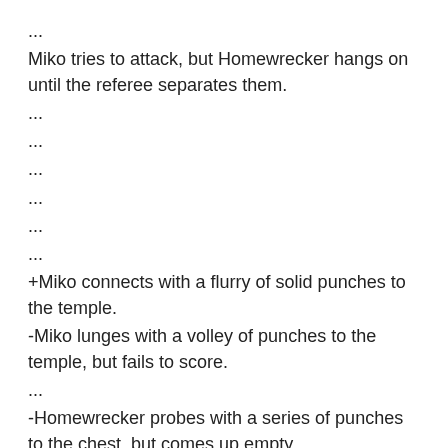...
Miko tries to attack, but Homewrecker hangs on until the referee separates them.
...
...
...
...
...
...
+Miko connects with a flurry of solid punches to the temple.
-Miko lunges with a volley of punches to the temple, but fails to score.
...
-Homewrecker probes with a series of punches to the chest, but comes up empty.
-Homewrecker fires a flurry of blows to the nose, but Miko ties him up.
+Homewrecker punches Miko with a roundhouse to the